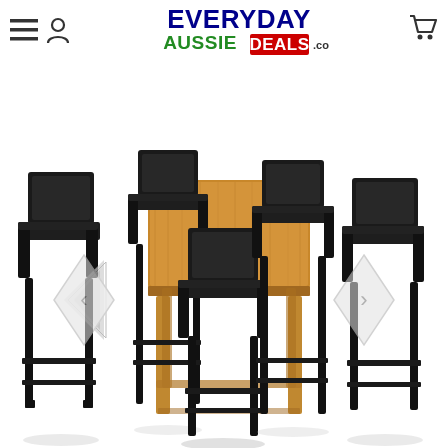Everyday Aussie Deals .com — navigation header with menu, user, and cart icons
[Figure (photo): Product photo of a 7-piece outdoor bar dining set with a rectangular acacia wood high-top table and 6 black poly rattan bar stools with armrests and metal footrests, on a white background. Left and right navigation arrows are visible.]